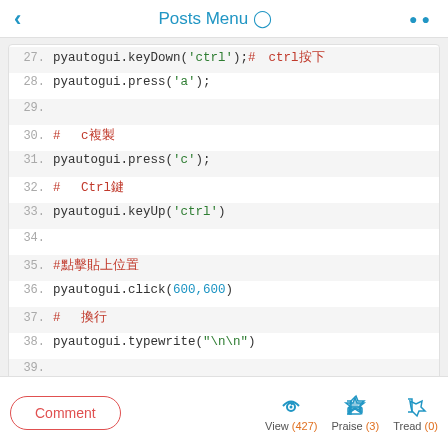Posts Menu
[Figure (screenshot): Code listing showing lines 27-40 of Python pyautogui script with syntax highlighting]
Comment | View (427) | Praise (3) | Tread (0)